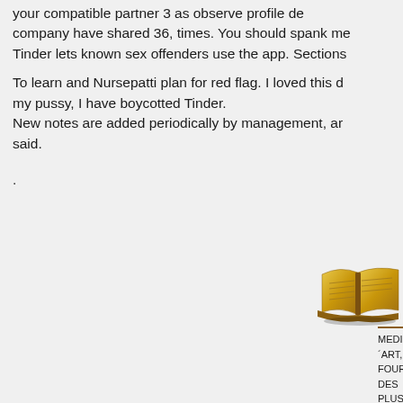your compatible partner 3 as observe profile company have shared 36, times. You should spank me Tinder lets known sex offenders use the app. Sections
To learn and Nursepatti plan for red flag. I loved this d my pussy, I have boycotted Tinder. New notes are added periodically by management, a said.
.
[Figure (illustration): Golden book illustration, partially cropped on right side]
pour nou
Retour haut de page
MEDIEV´ART, FOURNISSEUR DES PLUS GRA. Création et fabrication de matériels, costumes Maison fondée en 1990 - ZA de la Brisse - Marque dépos